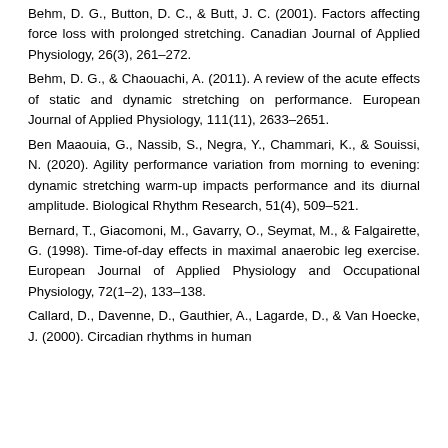Behm, D. G., Button, D. C., & Butt, J. C. (2001). Factors affecting force loss with prolonged stretching. Canadian Journal of Applied Physiology, 26(3), 261–272.
Behm, D. G., & Chaouachi, A. (2011). A review of the acute effects of static and dynamic stretching on performance. European Journal of Applied Physiology, 111(11), 2633–2651.
Ben Maaouia, G., Nassib, S., Negra, Y., Chammari, K., & Souissi, N. (2020). Agility performance variation from morning to evening: dynamic stretching warm-up impacts performance and its diurnal amplitude. Biological Rhythm Research, 51(4), 509–521.
Bernard, T., Giacomoni, M., Gavarry, O., Seymat, M., & Falgairette, G. (1998). Time-of-day effects in maximal anaerobic leg exercise. European Journal of Applied Physiology and Occupational Physiology, 72(1–2), 133–138.
Callard, D., Davenne, D., Gauthier, A., Lagarde, D., & Van Hoecke, J. (2000). Circadian rhythms in human...